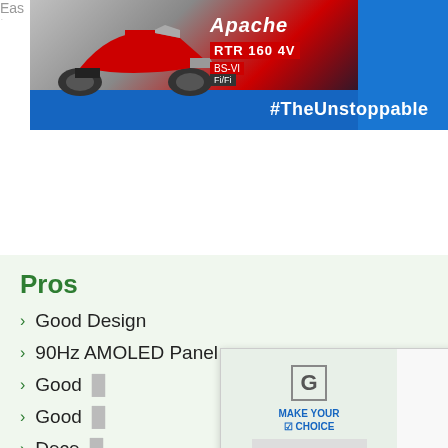[Figure (screenshot): TVS Apache RTR 160 4V motorcycle advertisement banner with red motorcycle, #TheUnstoppable tagline, blue bar at bottom]
Pros
Good Design
90Hz AMOLED Panel
Good...
Good...
Dece...
[Figure (screenshot): Bajaj bikes advertisement overlay: Make Your Choice, Get Bajaj Bikes @ Lowest Downpayment*, OR]